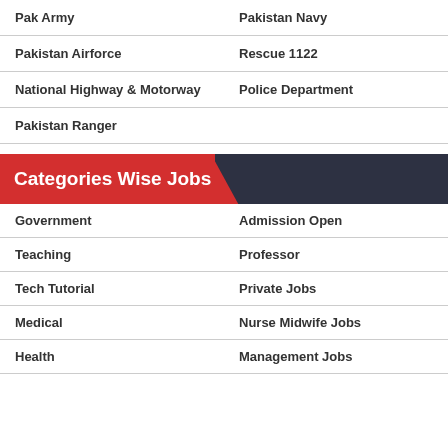| Pak Army | Pakistan Navy |
| Pakistan Airforce | Rescue 1122 |
| National Highway & Motorway | Police Department |
| Pakistan Ranger |  |
Categories Wise Jobs
| Government | Admission Open |
| Teaching | Professor |
| Tech Tutorial | Private Jobs |
| Medical | Nurse Midwife Jobs |
| Health | Management Jobs |